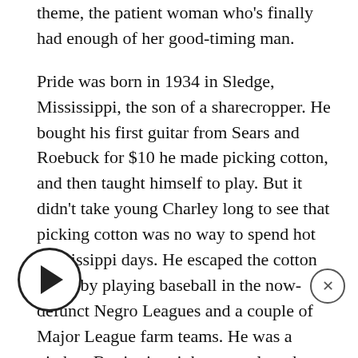theme, the patient woman who's finally had enough of her good-timing man.

Pride was born in 1934 in Sledge, Mississippi, the son of a sharecropper. He bought his first guitar from Sears and Roebuck for $10 he made picking cotton, and then taught himself to play. But it didn't take young Charley long to see that picking cotton was no way to spend hot Mississippi days. He escaped the cotton fields by playing baseball in the now-defunct Negro Leagues and a couple of Major League farm teams. He was a pitcher. But in time it became clear that Charley Pride was not about to become Bob Gibson. So he decided music was a better career choice. Country music fans have